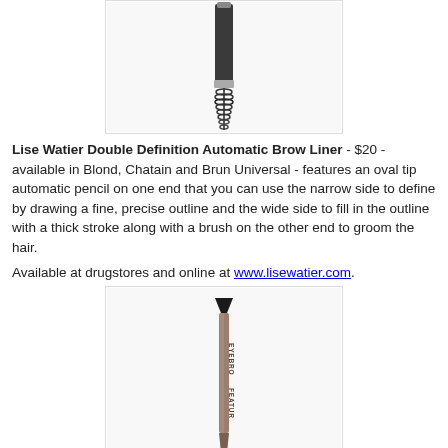[Figure (photo): Automatic brow liner pencil shown upright with spoolie brush end at bottom, on white background in a bordered box]
Lise Watier Double Definition Automatic Brow Liner - $20 - available in Blond, Chatain and Brun Universal - features an oval tip automatic pencil on one end that you can use the narrow side to define by drawing a fine, precise outline and the wide side to fill in the outline with a thick stroke along with a brush on the other end to groom the hair.
Available at drugstores and online at www.lisewatier.com.
[Figure (photo): Eyebrow felt-tip marker pen in taupe/brown color with a chisel tip nib, on white background in a bordered box]